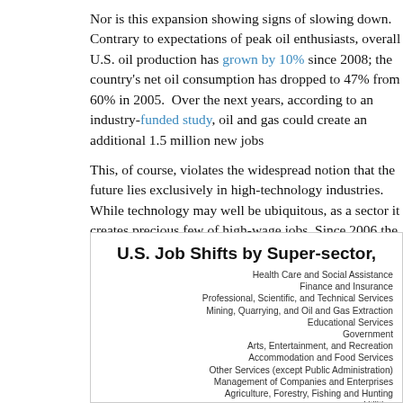Nor is this expansion showing signs of slowing down. Contrary to expectations of peak oil enthusiasts, overall U.S. oil production has grown by 10% since 2008; the country's net oil consumption has dropped to 47% from 60% in 2005. Over the next years, according to an industry-funded study, oil and gas could create an additional 1.5 million new jobs.
This, of course, violates the widespread notion that the future lies exclusively in high technology industries. While technology may well be ubiquitous, as a sector it creates precious few of high-wage jobs. Since 2006 the information sector has hemorrhaged over 600,000 jobs; those who do have jobs make on average about $20,000 less than their oil-stained counterparts.
[Figure (bar-chart): Horizontal bar chart showing U.S. job shifts by super-sector. Category labels are visible on the left side of the chart area.]